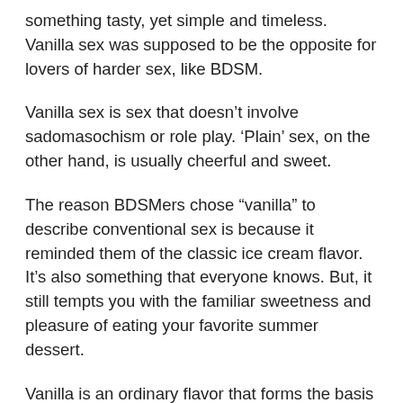something tasty, yet simple and timeless. Vanilla sex was supposed to be the opposite for lovers of harder sex, like BDSM.
Vanilla sex is sex that doesn't involve sadomasochism or role play. 'Plain' sex, on the other hand, is usually cheerful and sweet.
The reason BDSMers chose “vanilla” to describe conventional sex is because it reminded them of the classic ice cream flavor. It’s also something that everyone knows. But, it still tempts you with the familiar sweetness and pleasure of eating your favorite summer dessert.
Vanilla is an ordinary flavor that forms the basis for